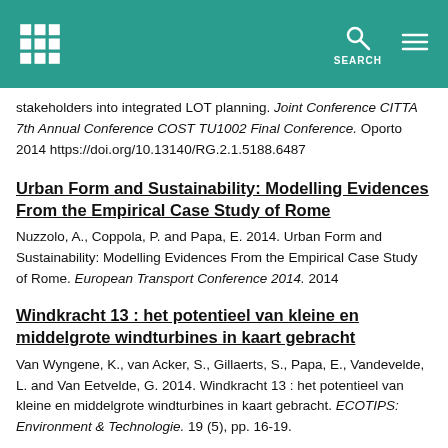SEARCH
stakeholders into integrated LOT planning. Joint Conference CITTA 7th Annual Conference COST TU1002 Final Conference. Oporto 2014 https://doi.org/10.13140/RG.2.1.5188.6487
Urban Form and Sustainability: Modelling Evidences From the Empirical Case Study of Rome
Nuzzolo, A., Coppola, P. and Papa, E. 2014. Urban Form and Sustainability: Modelling Evidences From the Empirical Case Study of Rome. European Transport Conference 2014. 2014
Windkracht 13 : het potentieel van kleine en middelgrote windturbines in kaart gebracht
Van Wyngene, K., van Acker, S., Gillaerts, S., Papa, E., Vandevelde, L. and Van Eetvelde, G. 2014. Windkracht 13 : het potentieel van kleine en middelgrote windturbines in kaart gebracht. ECOTIPS: Environment & Technologie. 19 (5), pp. 16-19.
Marginal Activity Access Cost (MAAC): a new